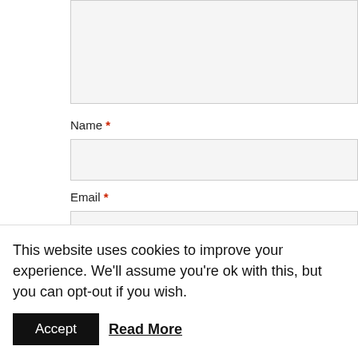[Figure (screenshot): Textarea input box (comment field), partially visible at top of page]
Name *
[Figure (screenshot): Name text input field]
Email *
[Figure (screenshot): Email text input field]
Website
[Figure (screenshot): Website text input field]
Save my name, email, and website in this browser for the next time I co
Please enter an answer in digits:
[Figure (screenshot): Captcha answer input field]
This website uses cookies to improve your experience. We'll assume you're ok with this, but you can opt-out if you wish.
Accept
Read More